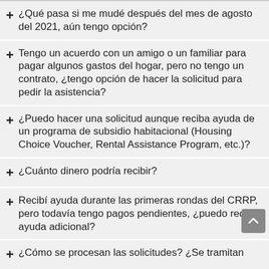+ ¿Qué pasa si me mudé después del mes de agosto del 2021, aún tengo opción?
+ Tengo un acuerdo con un amigo o un familiar para pagar algunos gastos del hogar, pero no tengo un contrato, ¿tengo opción de hacer la solicitud para pedir la asistencia?
+ ¿Puedo hacer una solicitud aunque reciba ayuda de un programa de subsidio habitacional (Housing Choice Voucher, Rental Assistance Program, etc.)?
+ ¿Cuánto dinero podría recibir?
+ Recibí ayuda durante las primeras rondas del CRRP, pero todavía tengo pagos pendientes, ¿puedo recibir ayuda adicional?
+ ¿Cómo se procesan las solicitudes? ¿Se tramitan